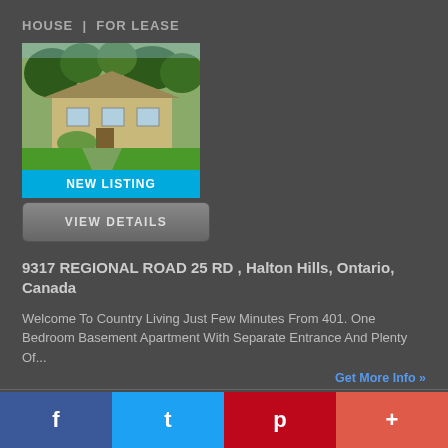HOUSE  |  FOR LEASE
[Figure (photo): Exterior photo of a ranch-style house surrounded by trees and a green lawn]
NEW LISTING
VIEW DETAILS
9317 REGIONAL ROAD 25 RD , Halton Hills, Ontario, Canada
Welcome To Country Living Just Few Minutes From 401. One Bedroom Basement Apartment With Separate Entrance And Plenty Of...
Get More Info »
1  2  3  4  5  6  7  8  9  10  »
f  t  p  +